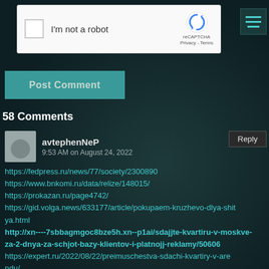[Figure (screenshot): reCAPTCHA widget with checkbox labeled 'I'm not a robot' and reCAPTCHA logo with Privacy and Terms links]
[Figure (other): Hamburger menu icon with three teal horizontal lines on dark background]
[Figure (other): Post Comment button in teal/green color]
58 Comments
avtephenNeP
9:53 AM on August 24, 2022
Reply
https://fedpress.ru/news/77/society/2300890
https://www.bnkomi.ru/data/relize/148015/
https://prokazan.ru/page4742/
https://gid.volga.news/633177/article/pokupaem-kruzhevo-dlya-shitya.html
http://xn----7sbbagmgoc8bze5h.xn--p1ai/sdajjte-kvartiru-v-moskve-za-2-dnya-za-schjot-bazy-klientov-i-platnojj-reklamy/50606
https://expert.ru/2022/08/22/preimuschestva-sdachi-kvartiry-v-arendu/
http://trud-ost.ru/?p=825968
https://konkurent.ru/article/52237